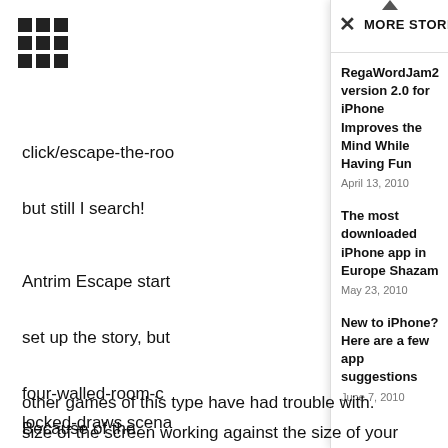[Figure (other): 3x3 grid of black squares icon (menu/app grid icon)]
click/escape-the-roo
but still I search!
Antrim Escape start
set up the story, but
four-walled-room-c
locked-draws scena
another game, this o
game, and let's be h
draws to unlock righ
The simple tap cont
other games of this type have had trouble with. Because of the
size of the screen working against the size of your finger, it can
MORE STORIES
RegaWordJam2 version 2.0 for iPhone Improves the Mind While Having Fun
April 13, 2010
The most downloaded iPhone app in Europe Shazam
May 23, 2010
New to iPhone? Here are a few app suggestions
June 7, 2010